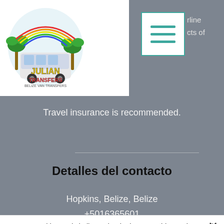[Figure (logo): Julian Transfers logo with van, palm trees and colorful design]
[Figure (other): Hamburger menu icon with teal border and three teal lines]
rline cts of
Travel insurance is recommended.
Detalles del contacto
Hopkins, Belize, Belize
+5016365601
We use cookies and similar technologies to enable services and functionality on our site and to understand your interaction with our service. By clicking on accept, you agree to our use of such technologies for marketing and analytics. See Privacy Policy